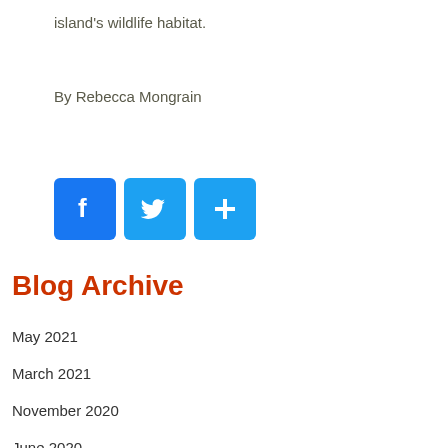island's wildlife habitat.
By Rebecca Mongrain
[Figure (infographic): Three social media share buttons: Facebook (f), Twitter (bird), and a generic share (+) button, all in blue rounded square icons.]
Blog Archive
May 2021
March 2021
November 2020
June 2020
March 2020